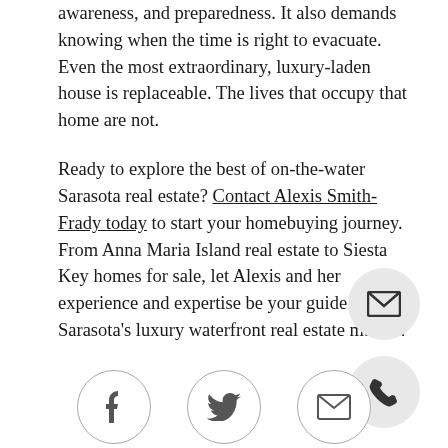awareness, and preparedness. It also demands knowing when the time is right to evacuate. Even the most extraordinary, luxury-laden house is replaceable. The lives that occupy that home are not.
Ready to explore the best of on-the-water Sarasota real estate? Contact Alexis Smith-Frady today to start your homebuying journey. From Anna Maria Island real estate to Siesta Key homes for sale, let Alexis and her experience and expertise be your guide to Sarasota's luxury waterfront real estate market.
[Figure (illustration): Email envelope icon inside a light grey circle]
[Figure (illustration): Phone handset icon inside a light grey circle]
[Figure (illustration): Facebook 'f' icon inside a circle with border]
[Figure (illustration): Twitter bird icon inside a circle with border]
[Figure (illustration): Email envelope icon inside a circle with border]